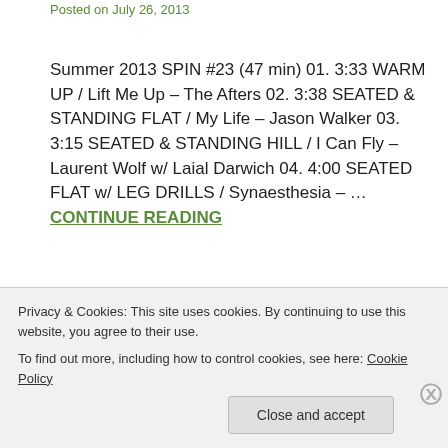Posted on July 26, 2013
Summer 2013 SPIN #23 (47 min) 01. 3:33 WARM UP / Lift Me Up – The Afters 02. 3:38 SEATED & STANDING FLAT / My Life – Jason Walker 03. 3:15 SEATED & STANDING HILL / I Can Fly – Laurent Wolf w/ Laial Darwich 04. 4:00 SEATED FLAT w/ LEG DRILLS / Synaesthesia – … CONTINUE READING
Posted in 47 - 52 Minutes   Tagged 2013, Capital Cities, I Can Fly, indoor cycling, Laurent Wolf, Lift Me Up, Panic! At The DIsco, playlist, Skylar Grey, spinning, spotify, Summer, The
Privacy & Cookies: This site uses cookies. By continuing to use this website, you agree to their use.
To find out more, including how to control cookies, see here: Cookie Policy